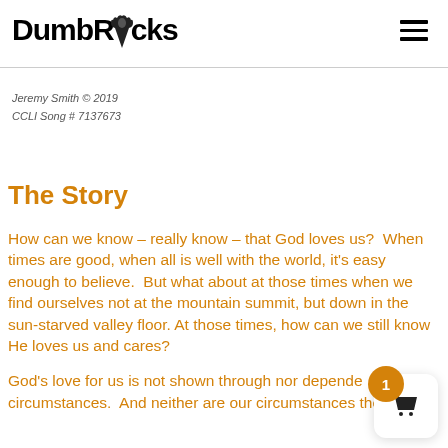DumbRocks — navigation header with hamburger menu
Jeremy Smith © 2019
CCLI Song # 7137673
The Story
How can we know – really know – that God loves us?  When times are good, when all is well with the world, it's easy enough to believe.  But what about at those times when we find ourselves not at the mountain summit, but down in the sun-starved valley floor. At those times, how can we still know He loves us and cares?
God's love for us is not shown through nor depended on our circumstances.  And neither are our circumstances the